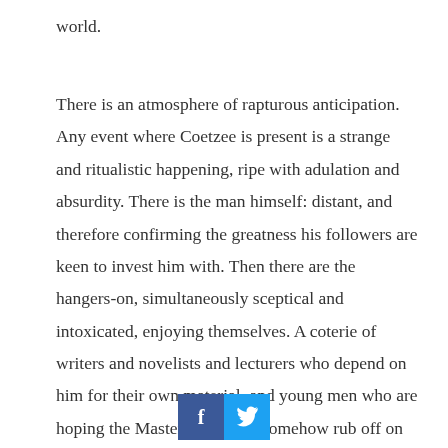world.
There is an atmosphere of rapturous anticipation. Any event where Coetzee is present is a strange and ritualistic happening, ripe with adulation and absurdity. There is the man himself: distant, and therefore confirming the greatness his followers are keen to invest him with. Then there are the hangers-on, simultaneously sceptical and intoxicated, enjoying themselves. A coterie of writers and novelists and lecturers who depend on him for their own material, and young men who are hoping the Master’s Gift will somehow rub off on them. I sit among them, listening to their private jokes, silently judging them. There are middle-aged men and
[Figure (other): Social media sharing buttons: Facebook (blue, letter f) and Twitter (light blue, bird icon styled as letter t)]